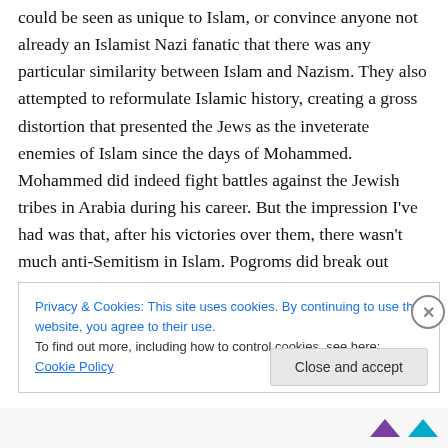could be seen as unique to Islam, or convince anyone not already an Islamist Nazi fanatic that there was any particular similarity between Islam and Nazism. They also attempted to reformulate Islamic history, creating a gross distortion that presented the Jews as the inveterate enemies of Islam since the days of Mohammed. Mohammed did indeed fight battles against the Jewish tribes in Arabia during his career. But the impression I've had was that, after his victories over them, there wasn't much anti-Semitism in Islam. Pogroms did break out sporadically, and in Morocco Jews were confined to
Privacy & Cookies: This site uses cookies. By continuing to use this website, you agree to their use.
To find out more, including how to control cookies, see here: Cookie Policy
Close and accept